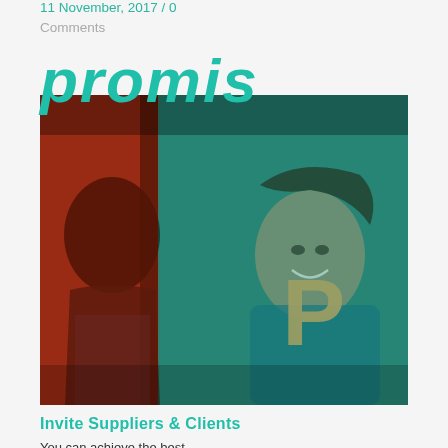11 November, 2017 / 0 Comments
promis
[Figure (photo): A woman holding a large letter 'P' and smiling, reflected or seen through a glass surface. The image has a teal/cyan color overlay on the right side and red tones on the left. Another person's silhouette/reflection is visible on the left side.]
Invite Suppliers & Clients
You can achieve the best